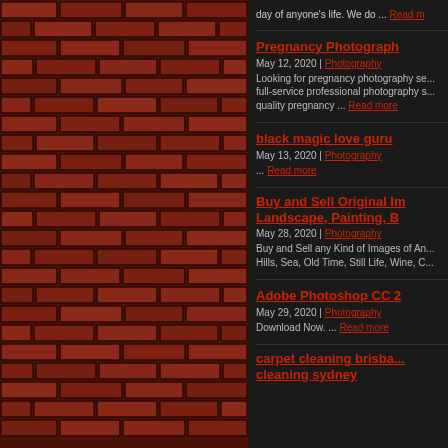[Figure (photo): Brick wall texture filling left half of page, dark red/brown bricks with mortar lines]
day of anyone's life. We do ... Read more
Pregnancy Photography
May 12, 2020 | Photography
Looking for pregnancy photography services? full-service professional photography s... quality pregnancy ... Read more
black magic love guru
May 13, 2020 | Photography
... Read more
Buy and Sell Original Images Landscape, Painting, B...
May 28, 2020 | Photography
Buy and Sell any Kind of Images of An... Hills, Sea, Old Time, Still Life, Wine, C...
Adobe Photoshop CC 2...
May 29, 2020 | Photography
Download Now. ... Read more
carpet cleaning brisba... cleaning sydney